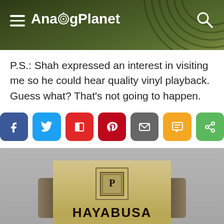AnalogPlanet
P.S.: Shah expressed an interest in visiting me so he could hear quality vinyl playback. Guess what? That's not going to happen.
[Figure (screenshot): Social media share buttons: Facebook (blue), Twitter (light blue), Flipboard (red), Pinterest (dark red), Email (gray), SMS (yellow), Share (green)]
[Figure (photo): Close-up photo of a Hayabusa cartridge product with gold label showing the brand logo, the text HAYABUSA, and Japanese kanji character, on a gray background]